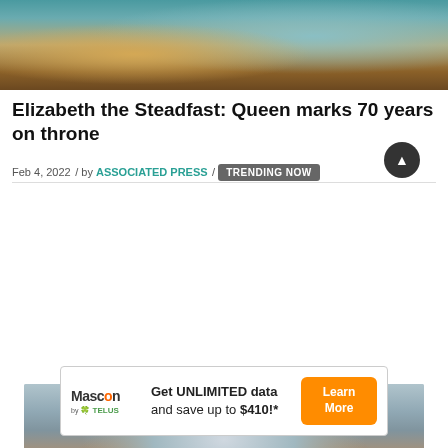[Figure (photo): Photo of Queen Elizabeth at a desk reviewing papers, wearing a teal outfit]
Elizabeth the Steadfast: Queen marks 70 years on throne
Feb 4, 2022 / by ASSOCIATED PRESS / TRENDING NOW
[Figure (photo): Close-up photo of a man wearing a white hard hat with blue accents and an orange high-visibility vest]
Get UNLIMITED data and save up to $410!* Learn More — Mascon by TELUS advertisement